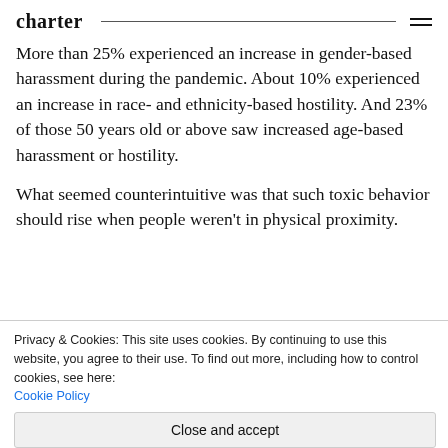charter
More than 25% experienced an increase in gender-based harassment during the pandemic. About 10% experienced an increase in race- and ethnicity-based hostility. And 23% of those 50 years old or above saw increased age-based harassment or hostility.
What seemed counterintuitive was that such toxic behavior should rise when people weren't in physical proximity.
Privacy & Cookies: This site uses cookies. By continuing to use this website, you agree to their use. To find out more, including how to control cookies, see here: Cookie Policy
Close and accept